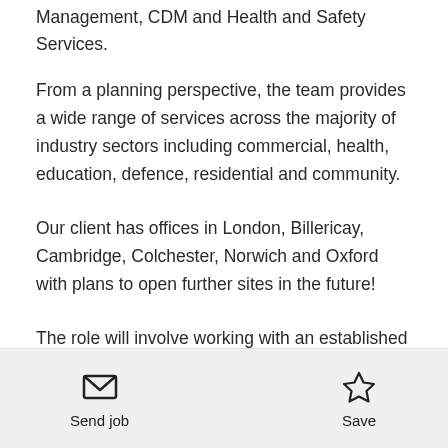Management, CDM and Health and Safety Services.
From a planning perspective, the team provides a wide range of services across the majority of industry sectors including commercial, health, education, defence, residential and community.
Our client has offices in London, Billericay, Cambridge, Colchester, Norwich and Oxford with plans to open further sites in the future!
The role will involve working with an established planning team providing strategic and technical
Send job   Save